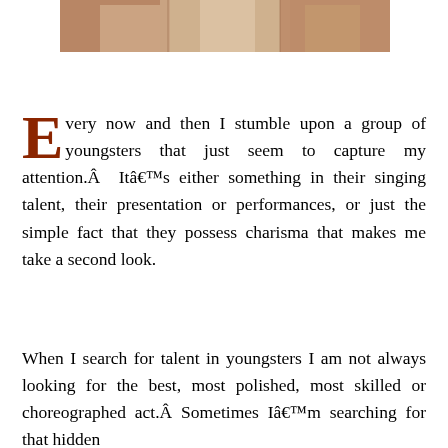[Figure (photo): Partial photo strip at the top showing people in white shirts, cropped view]
Every now and then I stumble upon a group of youngsters that just seem to capture my attention.Â  Itâ€™s either something in their singing talent, their presentation or performances, or just the simple fact that they possess charisma that makes me take a second look.
When I search for talent in youngsters I am not always looking for the best, most polished, most skilled or choreographed act.Â Sometimes Iâ€™m searching for that hidden